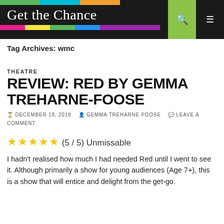Get the Chance
Tag Archives: wmc
THEATRE
REVIEW: RED BY GEMMA TREHARNE-FOOSE
DECEMBER 18, 2019   GEMMA TREHARNE FOOSE   LEAVE A COMMENT
★★★★★ (5 / 5) Unmissable
I hadn't realised how much I had needed Red until I went to see it. Although primarily a show for young audiences (Age 7+), this is a show that will entice and delight from the get-go.